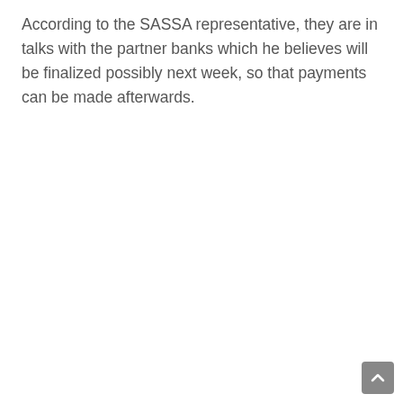According to the SASSA representative, they are in talks with the partner banks which he believes will be finalized possibly next week, so that payments can be made afterwards.